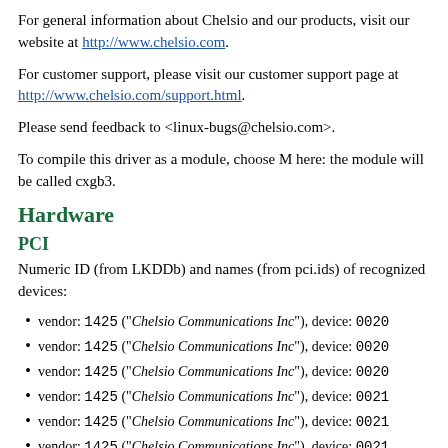For general information about Chelsio and our products, visit our website at http://www.chelsio.com.
For customer support, please visit our customer support page at http://www.chelsio.com/support.html.
Please send feedback to <linux-bugs@chelsio.com>.
To compile this driver as a module, choose M here: the module will be called cxgb3.
Hardware
PCI
Numeric ID (from LKDDb) and names (from pci.ids) of recognized devices:
vendor: 1425 ("Chelsio Communications Inc"), device: 0020
vendor: 1425 ("Chelsio Communications Inc"), device: 0020
vendor: 1425 ("Chelsio Communications Inc"), device: 0020
vendor: 1425 ("Chelsio Communications Inc"), device: 0021
vendor: 1425 ("Chelsio Communications Inc"), device: 0021
vendor: 1425 ("Chelsio Communications Inc"), device: 0021